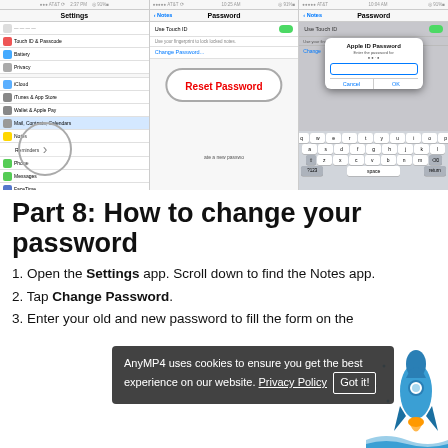[Figure (screenshot): Three iOS screenshots showing how to change Notes password: (1) Settings app with Notes highlighted, (2) Notes Password screen with Reset Password button circled, (3) Apple ID Password dialog over keyboard]
Part 8: How to change your password
1. Open the Settings app. Scroll down to find the Notes app.
2. Tap Change Password.
3. Enter your old and new password to fill the form on the
AnyMP4 uses cookies to ensure you get the best experience on our website. Privacy Policy  Got it!